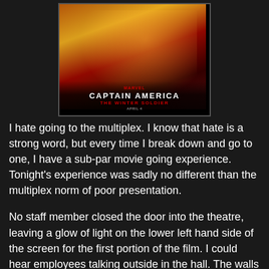[Figure (photo): Movie poster for Captain America: The Winter Soldier — action artwork with characters surrounded by fire and explosions, MARVEL logo at top, title text in white and red]
I hate going to the multiplex. I know that hate is a strong word, but every time I break down and go to one, I have a sub-par movie going experience. Tonight's experience was sadly no different than the multiplex norm of poor presentation.
No staff member closed the door into the theatre, leaving a glow of light on the lower left hand side of the screen for the first portion of the film. I could hear employees talking outside in the hall. The walls are thin enough that I could hear Godzilla wreaking havoc in the theatre next door. And, despite listings on their site making no reference to this, our movie was only in 3D. My friends and I all hate 3D. I could